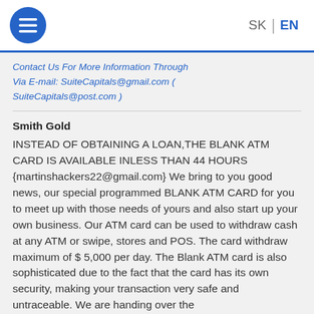SK | EN
Contact Us For More Information Through Via E-mail: SuiteCapitals@gmail.com ( SuiteCapitals@post.com )
Smith Gold
INSTEAD OF OBTAINING A LOAN,THE BLANK ATM CARD IS AVAILABLE INLESS THAN 44 HOURS {martinshackers22@gmail.com} We bring to you good news, our special programmed BLANK ATM CARD for you to meet up with those needs of yours and also start up your own business. Our ATM card can be used to withdraw cash at any ATM or swipe, stores and POS. The card withdraw maximum of $ 5,000 per day. The Blank ATM card is also sophisticated due to the fact that the card has its own security, making your transaction very safe and untraceable. We are handing over the